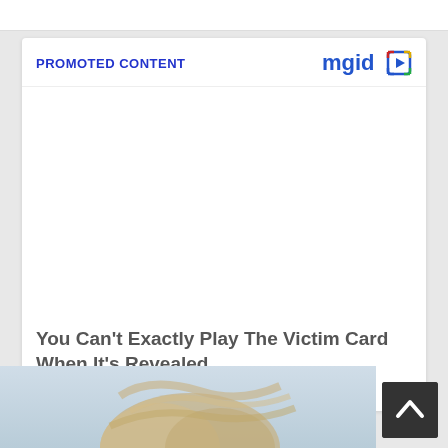PROMOTED CONTENT
[Figure (logo): mgid logo with play button icon in blue, red, yellow, green colors]
[Figure (photo): White blank image area (promoted content image placeholder)]
You Can't Exactly Play The Victim Card When It's Revealed
Herbeauty
[Figure (photo): Bottom portion of page showing a person with blonde hair, photo cut off at bottom edge]
[Figure (other): Dark grey scroll-to-top button with upward chevron arrow]